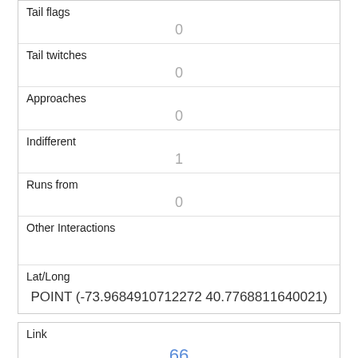| Tail flags | 0 |
| Tail twitches | 0 |
| Approaches | 0 |
| Indifferent | 1 |
| Runs from | 0 |
| Other Interactions |  |
| Lat/Long | POINT (-73.9684910712272 40.7768811640021) |
| Link | 66 |
| rowid | 66 |
| longitude | -73.9749243901189 |